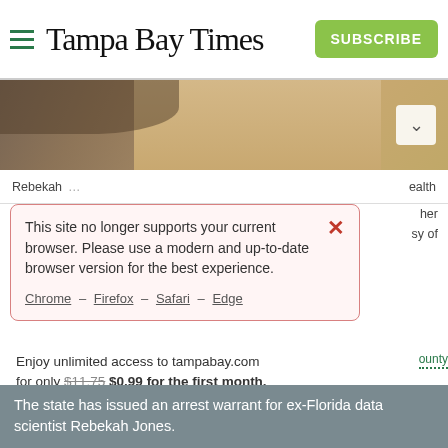Tampa Bay Times — SUBSCRIBE
[Figure (photo): Cropped photo of a blonde woman near a desk, partially obscured by modal dialog]
Rebekah  ...  health  her  sy of
This site no longer supports your current browser. Please use a modern and up-to-date browser version for the best experience.
Chrome – Firefox – Safari – Edge
Enjoy unlimited access to tampabay.com for only $11.75 $0.99 for the first month.
Subscribe   Log In
Interested in print delivery? Subscribe here →
The state has issued an arrest warrant for ex-Florida data scientist Rebekah Jones.